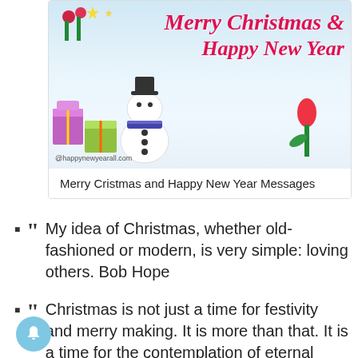[Figure (photo): Christmas greeting card image with snowman, gifts, and decorations. Shows 'Merry Christmas & Happy New Year' text in red italic script over a light blue/white snowy background. Watermark: @happynewyearall.com]
Merry Cristmas and Happy New Year Messages
My idea of Christmas, whether old-fashioned or modern, is very simple: loving others. Bob Hope
Christmas is not just a time for festivity and merry making. It is more than that. It is a time for the contemplation of eternal